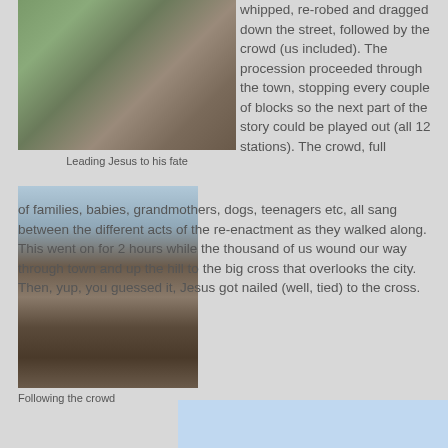[Figure (photo): Crowd of people seen from behind watching a procession in a town square with trees and buildings]
Leading Jesus to his fate
[Figure (photo): Street scene with crowd of people walking through a town, viewed from behind a car door, with power lines overhead]
whipped, re-robed and dragged down the street, followed by the crowd (us included). The procession proceeded through the town, stopping every couple of blocks so the next part of the story could be played out (all 12 stations). The crowd, full of families, babies, grandmothers, dogs, teenagers etc, all sang between the different acts of the re-enactment as they walked along. This went on for 2 hours while the thousand of us wound our way through town and up the hill to the big cross that overlooks the city. Then, yup, you guessed it, Jesus got nailed (well, tied) to the cross.
Following the crowd